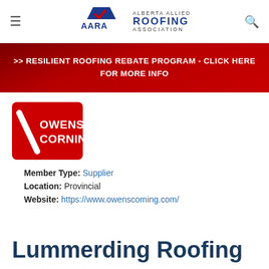AARA - Alberta Allied Roofing Association
>> RESILIENT ROOFING REBATE PROGRAM - CLICK HERE FOR MORE INFO
[Figure (logo): Owens Corning logo — red square background with white Owens Corning text and a stylized white diagonal line]
Member Type: Supplier
Location: Provincial
Website: https://www.owenscorning.com/
Lummerding Roofing